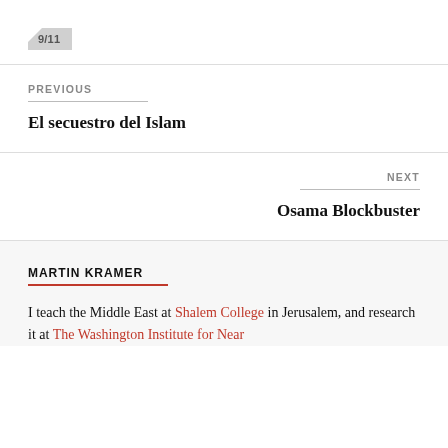9/11
PREVIOUS
El secuestro del Islam
NEXT
Osama Blockbuster
MARTIN KRAMER
I teach the Middle East at Shalem College in Jerusalem, and research it at The Washington Institute for Near